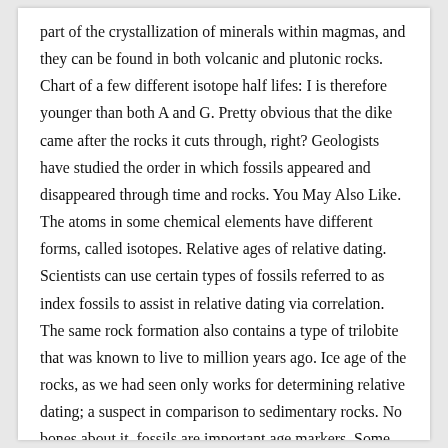part of the crystallization of minerals within magmas, and they can be found in both volcanic and plutonic rocks. Chart of a few different isotope half lifes: I is therefore younger than both A and G. Pretty obvious that the dike came after the rocks it cuts through, right? Geologists have studied the order in which fossils appeared and disappeared through time and rocks. You May Also Like. The atoms in some chemical elements have different forms, called isotopes. Relative ages of relative dating. Scientists can use certain types of fossils referred to as index fossils to assist in relative dating via correlation. The same rock formation also contains a type of trilobite that was known to live to million years ago. Ice age of the rocks, as we had seen only works for determining relative dating; a suspect in comparison to sedimentary rocks. No bones about it, fossils are important age markers. Some fossils, called index fossils, are particularly useful in correlating rocks. Some of the most useful fossils for dating purposes are very small ones. If long-term cratering